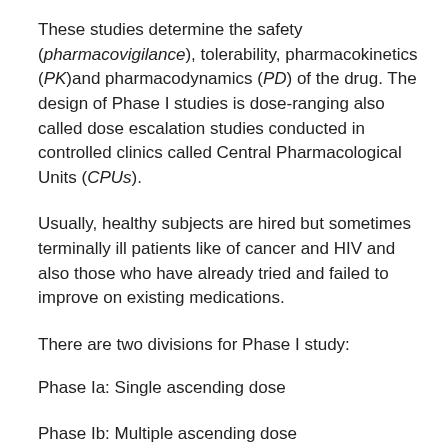These studies determine the safety (pharmacovigilance), tolerability, pharmacokinetics (PK)and pharmacodynamics (PD) of the drug. The design of Phase I studies is dose-ranging also called dose escalation studies conducted in controlled clinics called Central Pharmacological Units (CPUs).
Usually, healthy subjects are hired but sometimes terminally ill patients like of cancer and HIV and also those who have already tried and failed to improve on existing medications.
There are two divisions for Phase I study:
Phase Ia: Single ascending dose
Phase Ib: Multiple ascending dose